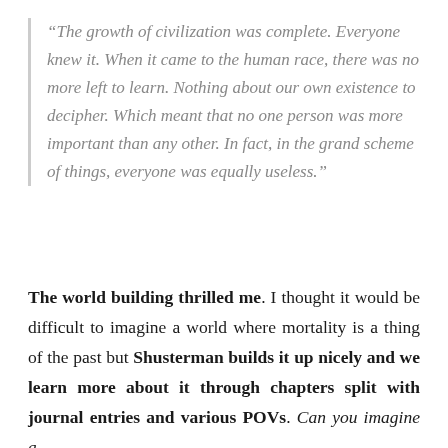“The growth of civilization was complete. Everyone knew it. When it came to the human race, there was no more left to learn. Nothing about our own existence to decipher. Which meant that no one person was more important than any other. In fact, in the grand scheme of things, everyone was equally useless.”
The world building thrilled me. I thought it would be difficult to imagine a world where mortality is a thing of the past but Shusterman builds it up nicely and we learn more about it through chapters split with journal entries and various POVs. Can you imagine a